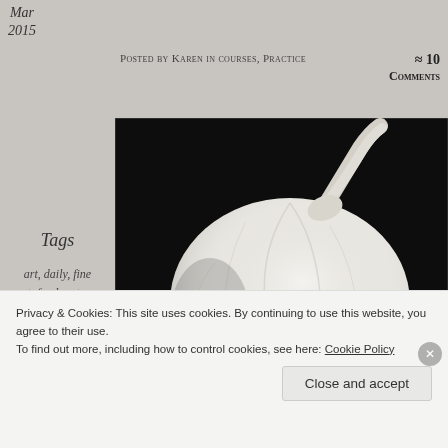Mar 2015
Posted by Karen in courses, Practice
≈ 10 Comments
Tags
art, daily, fine art, food, nature, photo101, photoaday, Postaday, still life
[Figure (photo): Close-up photograph of a whole garlic bulb against a dark/black background. The garlic is white and plump, shot from slightly above, showing the papery skin and root end.]
Privacy & Cookies: This site uses cookies. By continuing to use this website, you agree to their use. To find out more, including how to control cookies, see here: Cookie Policy
Close and accept